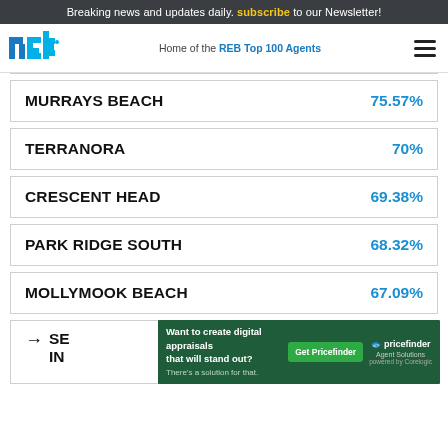Breaking news and updates daily. subscribe to our Newsletter!
[Figure (logo): REB logo with tagline: Home of the REB Top 100 Agents]
MURRAYS BEACH  75.57%
TERRANORA  70%
CRESCENT HEAD  69.38%
PARK RIDGE SOUTH  68.32%
MOLLYMOOK BEACH  67.09%
SEE MORE IN...
[Figure (infographic): Advertisement overlay: Want to create digital appraisals that will stand out? Get Pricefinder - Agent Solutions (powered by Corelogic)]